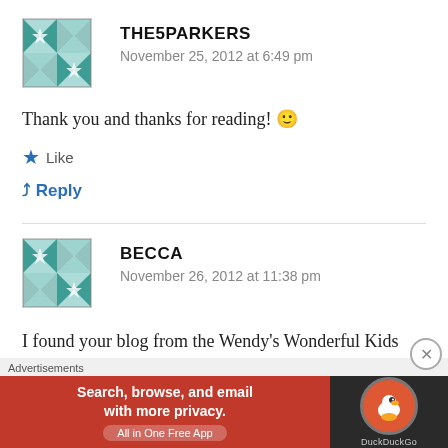THE5PARKERS — November 25, 2012 at 6:49 pm
Thank you and thanks for reading! 🙂
★ Like
↳ Reply
BECCA — November 26, 2012 at 11:38 pm
I found your blog from the Wendy's Wonderful Kids pinterest page.We have adopted our son through
[Figure (screenshot): DuckDuckGo advertisement banner: 'Search, browse, and email with more privacy. All in One Free App' on red background with DuckDuckGo duck logo on dark background]